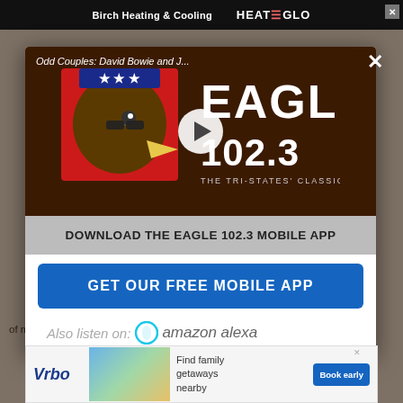[Figure (screenshot): Top advertisement banner for Birch Heating & Cooling and Heat&Glo with close button]
[Figure (screenshot): Eagle 102.3 radio station modal popup with video player showing Eagle logo and play button, download app section, GET OUR FREE MOBILE APP button, and Amazon Alexa listen option. Background shows dimmed webpage.]
Odd Couples: David Bowie and J...
DOWNLOAD THE EAGLE 102.3 MOBILE APP
GET OUR FREE MOBILE APP
Also listen on: amazon alexa
[Figure (screenshot): Vrbo advertisement banner at bottom with 'Find family getaways nearby' text and Book early button]